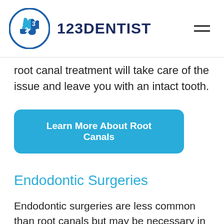123DENTIST
root canal treatment will take care of the issue and leave you with an intact tooth.
[Figure (other): Teal rounded rectangle button reading 'Learn More About Root Canals']
Endodontic Surgeries
Endodontic surgeries are less common than root canals but may be necessary in cases when a root canal will not be enough to save the tooth. It can